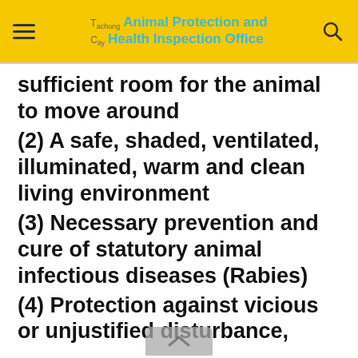Taichung City Animal Protection and Health Inspection Office
sufficient room for the animal to move around
(2) A safe, shaded, ventilated, illuminated, warm and clean living environment
(3) Necessary prevention and cure of statutory animal infectious diseases (Rabies)
(4) Protection against vicious or unjustified disturbance,